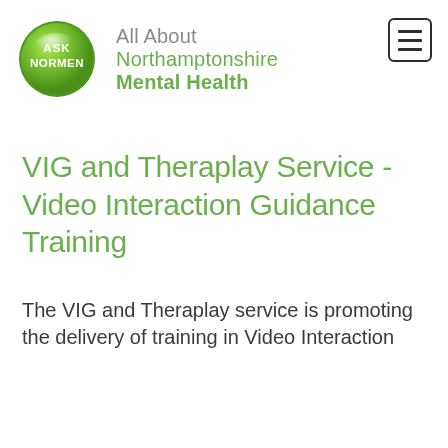[Figure (logo): Ask Normen logo - green glossy circle with white text 'ASK NORMEN', next to text 'All About Northamptonshire Mental Health']
VIG and Theraplay Service - Video Interaction Guidance Training
The VIG and Theraplay service is promoting the delivery of training in Video Interaction